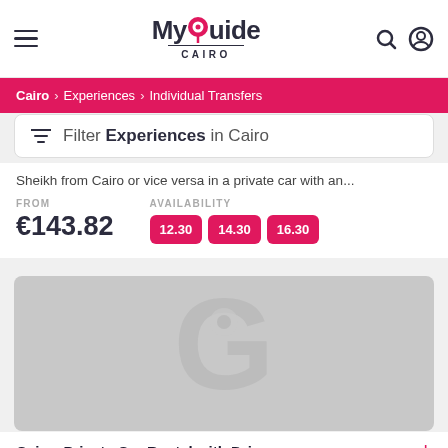My Guide Cairo
Cairo > Experiences > Individual Transfers
Filter Experiences in Cairo
Sheikh from Cairo or vice versa in a private car with an...
FROM €143.82 AVAILABILITY 12.30 14.30 16.30
[Figure (logo): Placeholder image with MyGuide logo watermark in grey]
Cairo: Private Car Rental with Driver
★★★★★ 14 Reviews